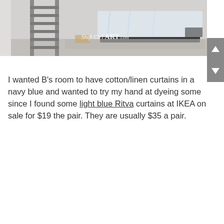[Figure (photo): A bedroom under renovation with a stepladder on the left, a mattress covered in plastic wrap on the right, dropcloth on the floor, and a 'Shift Ctrl ART.com' watermark in the center.]
I wanted B's room to have cotton/linen curtains in a navy blue and wanted to try my hand at dyeing some since I found some light blue Ritva curtains at IKEA on sale for $19 the pair. They are usually $35 a pair.